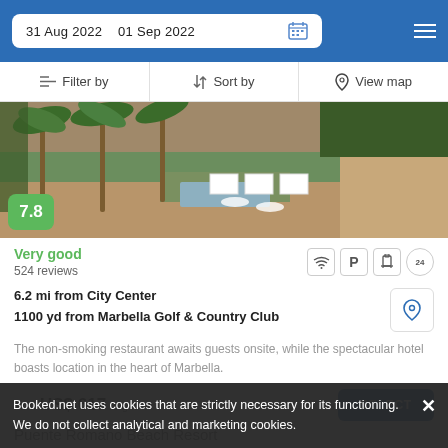31 Aug 2022  01 Sep 2022
Filter by  Sort by  View map
[Figure (photo): Aerial view of a hotel resort with palm trees, white beach cabanas, and courtyard area]
7.8
Very good
524 reviews
6.2 mi from City Center
1100 yd from Marbella Golf & Country Club
The non-smoking restaurant awaits guests onsite, while the spectacular hotel boasts location in the heart of Marbella.
from  US$ 617/night  SELECT
Booked.net uses cookies that are strictly necessary for its functioning. We do not collect analytical and marketing cookies.
Puente Romano Beach Resort